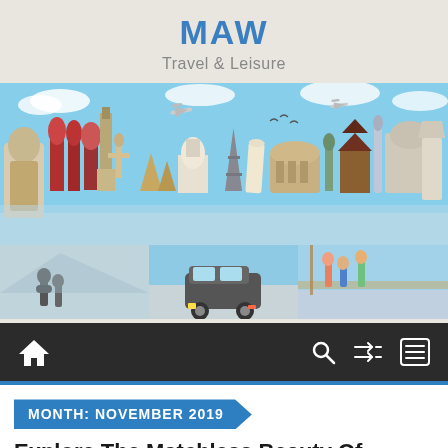MAW
Travel & Leisure
[Figure (photo): Travel banner collage showing world landmarks (Eiffel Tower, Leaning Tower of Pisa, Colosseum, Statue of Liberty, Big Ben, Taj Mahal, etc.) at top, and three smaller photos below showing travelers with backpacks, a minivan car, and people on a boat.]
MONTH: NOVEMBER 2019
Explore The Matchless Beauty Of Hawaiian